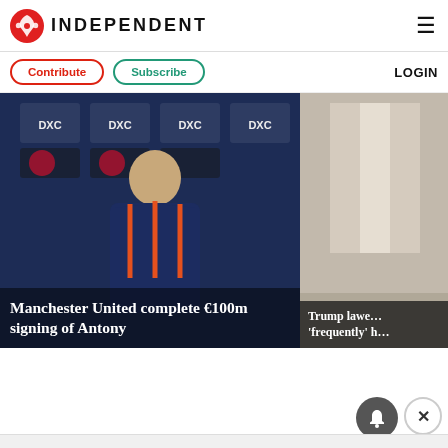INDEPENDENT
Contribute
Subscribe
LOGIN
[Figure (photo): Manchester United press conference photo with player smiling, DXC Technology and Adidas branding in background]
Manchester United complete €100m signing of Antony
[Figure (photo): Partially visible second news card with dark overlay showing Trump lawyer headline]
Trump lawy… 'frequently' h…